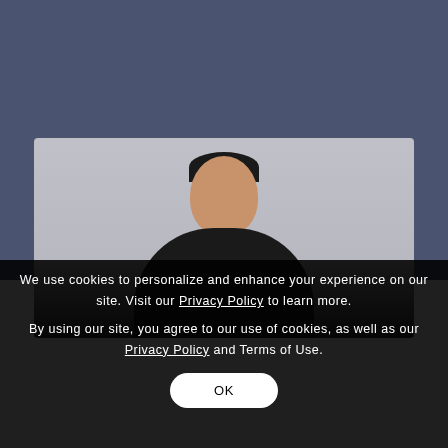[Figure (photo): Headshot of a man in a dark suit against a gray background, partially obscured by a dark cookie consent overlay]
We use cookies to personalize and enhance your experience on our site. Visit our Privacy Policy to learn more.
By using our site, you agree to our use of cookies, as well as our Privacy Policy and Terms of Use.
OK